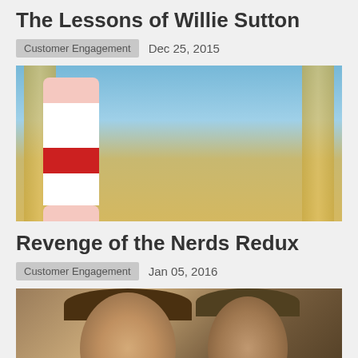The Lessons of Willie Sutton
Customer Engagement   Dec 25, 2015
[Figure (photo): Movie still showing two men and two cheerleaders in front of columns, from Revenge of the Nerds]
Revenge of the Nerds Redux
Customer Engagement   Jan 05, 2016
[Figure (photo): Sepia-toned close-up photo of two people with long hair]